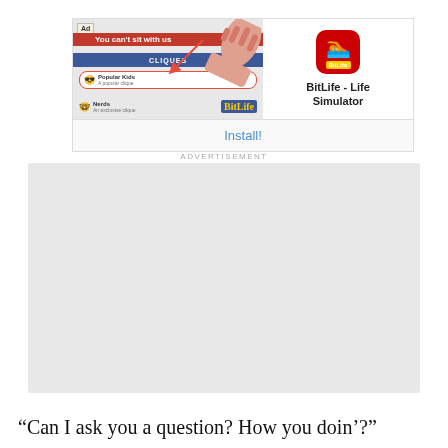[Figure (screenshot): Advertisement banner for BitLife - Life Simulator app showing a Facebook Cliques game screenshot with 'You can't sit with us' red banner, Popular Kids highlighted with a red oval, an arrow pointer, and a red hand with nails. Right side shows BitLife logo icon and app name 'BitLife - Life Simulator'. Below is an 'Install!' button link.]
ADVERTISEMENT
[Figure (other): Gray placeholder advertisement rectangle]
“Can I ask you a question? How you doin’?”